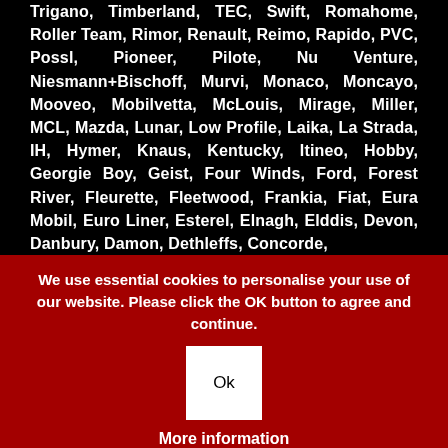Trigano, Timberland, TEC, Swift, Romahome, Roller Team, Rimor, Renault, Reimo, Rapido, PVC, Possl, Pioneer, Pilote, Nu Venture, Niesmann+Bischoff, Murvi, Monaco, Moncayo, Mooveo, Mobilvetta, McLouis, Mirage, Miller, MCL, Mazda, Lunar, Low Profile, Laika, La Strada, IH, Hymer, Knaus, Kentucky, Itineo, Hobby, Georgie Boy, Geist, Four Winds, Ford, Forest River, Fleurette, Fleetwood, Frankia, Fiat, Eura Mobil, Euro Liner, Esterel, Elnagh, Elddis, Devon, Danbury, Damon, Dethleffs, Concorde,
We use essential cookies to personalise your use of our website. Please click the OK button to agree and continue.
Ok
More information